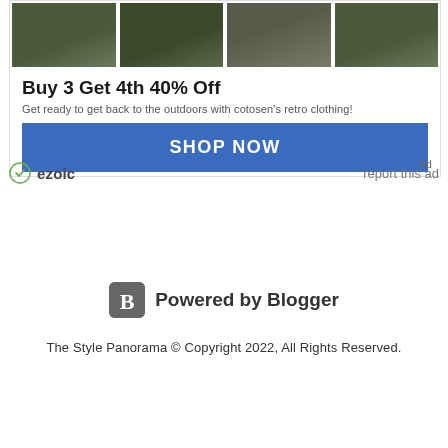[Figure (screenshot): Advertisement banner showing outdoor/retro clothing images with dark olive green sleeping bags and a person wearing boots]
Buy 3 Get 4th 40% Off
Get ready to get back to the outdoors with cotosen's retro clothing!
SHOP NOW
Ad
ezoic
report this ad
[Figure (logo): Powered by Blogger logo with orange/grey B icon]
Powered by Blogger
The Style Panorama © Copyright 2022, All Rights Reserved.